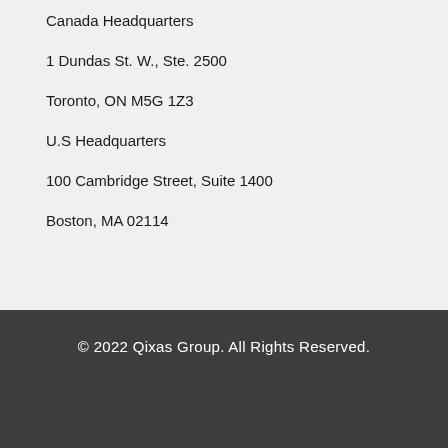Canada Headquarters
1 Dundas St. W., Ste. 2500
Toronto, ON M5G 1Z3
U.S Headquarters
100 Cambridge Street, Suite 1400
Boston, MA 02114
© 2022 Qixas Group. All Rights Reserved.